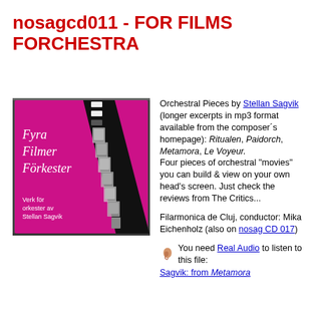nosagcd011 - FOR FILMS FORCHESTRA
[Figure (photo): CD cover of 'Fyra Filmer Förkester' (Four Films for Orchestra) by Stellan Sagvik, pink/magenta cover with film strip imagery and white text]
Orchestral Pieces by Stellan Sagvik (longer excerpts in mp3 format available from the composer's homepage): Ritualen, Paidorch, Metamora, Le Voyeur. Four pieces of orchestral "movies" you can build & view on your own head's screen. Just check the reviews from The Critics...
Filarmonica de Cluj, conductor: Mika Eichenholz (also on nosag CD 017)
You need Real Audio to listen to this file: Sagvik: from Metamora